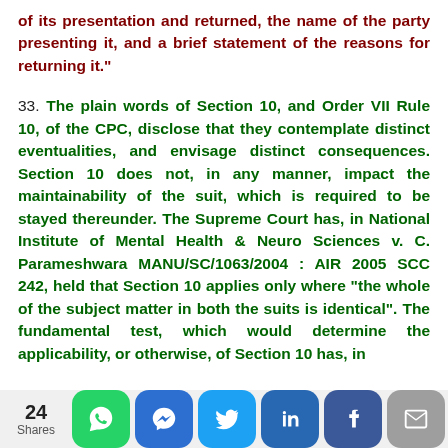of its presentation and returned, the name of the party presenting it, and a brief statement of the reasons for returning it."
33. The plain words of Section 10, and Order VII Rule 10, of the CPC, disclose that they contemplate distinct eventualities, and envisage distinct consequences. Section 10 does not, in any manner, impact the maintainability of the suit, which is required to be stayed thereunder. The Supreme Court has, in National Institute of Mental Health & Neuro Sciences v. C. Parameshwara MANU/SC/1063/2004 : AIR 2005 SCC 242, held that Section 10 applies only where "the whole of the subject matter in both the suits is identical". The fundamental test, which would determine the applicability, or otherwise, of Section 10 has, in
24 Shares [social share icons]